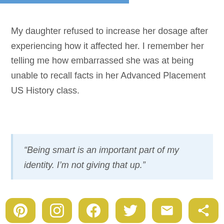My daughter refused to increase her dosage after experiencing how it affected her. I remember her telling me how embarrassed she was at being unable to recall facts in her Advanced Placement US History class.
“Being smart is an important part of my identity. I’m not giving that up.”
She shouldn’t have to give that up.